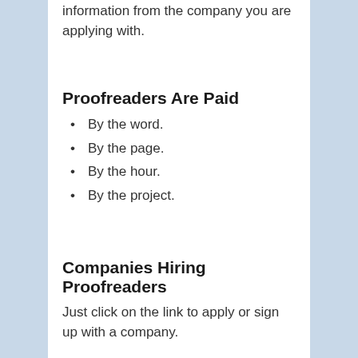information from the company you are applying with.
Proofreaders Are Paid
By the word.
By the page.
By the hour.
By the project.
Companies Hiring Proofreaders
Just click on the link to apply or sign up with a company.